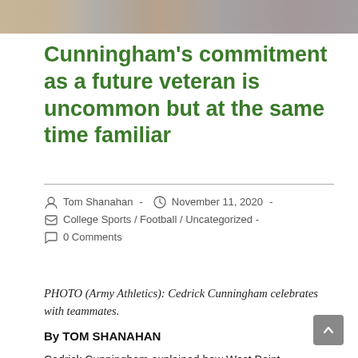[Figure (photo): Cropped photo strip showing Cedrick Cunningham celebrating with teammates, Army Athletics photo]
Cunningham's commitment as a future veteran is uncommon but at the same time familiar
Tom Shanahan  -  November 11, 2020  -  College Sports / Football / Uncategorized  -  0 Comments
PHOTO (Army Athletics): Cedrick Cunningham celebrates with teammates.
By TOM SHANAHAN
Cedrick Cunningham explained how West Point